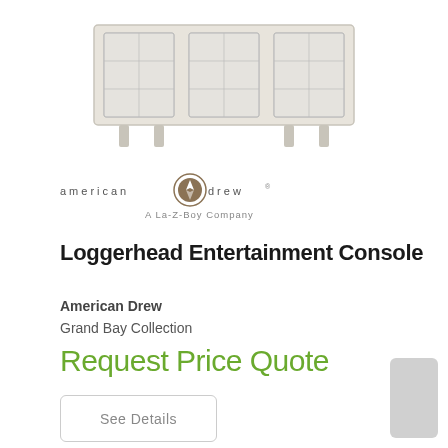[Figure (photo): Product photo of the Loggerhead Entertainment Console — a light gray/cream colored cabinet with glass sliding doors, shown cropped at top of page]
[Figure (logo): American Drew logo — text 'american drew' with a circular emblem in the center, subtitle 'A La-Z-Boy Company']
Loggerhead Entertainment Console
American Drew
Grand Bay Collection
Request Price Quote
See Details